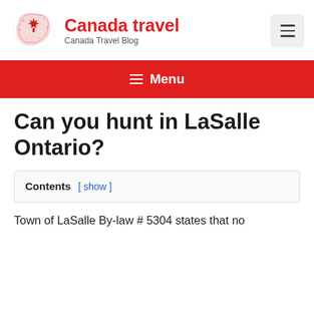Canada travel — Canada Travel Blog
≡ Menu
Can you hunt in LaSalle Ontario?
Contents [ show ]
Town of LaSalle By-law # 5304 states that no